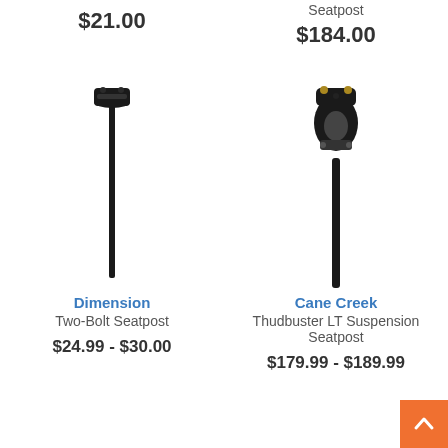Seatpost
$184.00
$21.00
[Figure (photo): Dimension Two-Bolt Seatpost - black bicycle seatpost with two-bolt saddle clamp]
Dimension
Two-Bolt Seatpost
$24.99 - $30.00
[Figure (photo): Cane Creek Thudbuster LT Suspension Seatpost - black suspension seatpost with linkage mechanism]
Cane Creek
Thudbuster LT Suspension Seatpost
$179.99 - $189.99